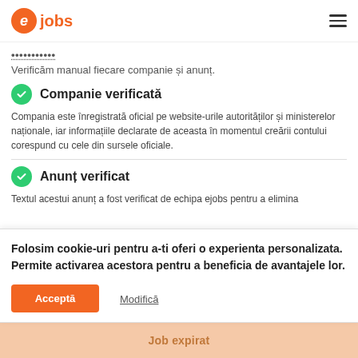ejobs
Verificăm manual fiecare companie și anunț.
Companie verificată
Compania este înregistrată oficial pe website-urile autorităților și ministerelor naționale, iar informațiile declarate de aceasta în momentul creării contului corespund cu cele din sursele oficiale.
Anunț verificat
Textul acestui anunț a fost verificat de echipa ejobs pentru a elimina
Folosim cookie-uri pentru a-ti oferi o experienta personalizata. Permite activarea acestora pentru a beneficia de avantajele lor.
Acceptă    Modifică
Job expirat